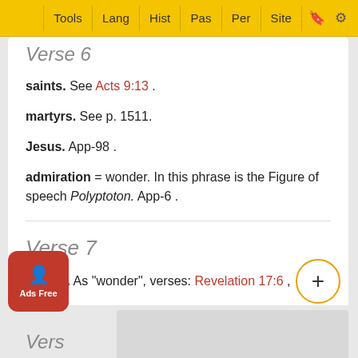Tools | Lang | Hist | Pas | Per | Site
Verse 6
saints. See Acts 9:13 .
martyrs. See p. 1511.
Jesus. App-98 .
admiration = wonder. In this phrase is the Figure of speech Polyptoton. App-6 .
Verse 7
marvel. As "wonder", verses: Revelation 17:6 , Revelation .